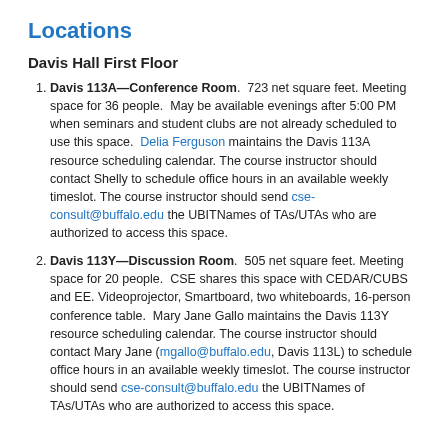Locations
Davis Hall First Floor
Davis 113A—Conference Room.  723 net square feet. Meeting space for 36 people.  May be available evenings after 5:00 PM when seminars and student clubs are not already scheduled to use this space.  Delia Ferguson maintains the Davis 113A resource scheduling calendar. The course instructor should contact Shelly to schedule office hours in an available weekly timeslot. The course instructor should send cse-consult@buffalo.edu the UBITNames of TAs/UTAs who are authorized to access this space.
Davis 113Y—Discussion Room.  505 net square feet. Meeting space for 20 people.  CSE shares this space with CEDAR/CUBS and EE. Videoprojector, Smartboard, two whiteboards, 16-person conference table.  Mary Jane Gallo maintains the Davis 113Y resource scheduling calendar. The course instructor should contact Mary Jane (mgallo@buffalo.edu, Davis 113L) to schedule office hours in an available weekly timeslot. The course instructor should send cse-consult@buffalo.edu the UBITNames of TAs/UTAs who are authorized to access this space.